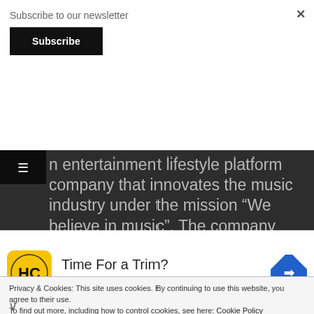Subscribe to our newsletter
Subscribe
n entertainment lifestyle platform company that innovates the music industry under the mission “We believe in music”. The company was listed on the KOSPI Market of Korea Exchange (KRX) in October 2020. HYBE has established its business ventures in entertainment lifestyle upon three pillars. The label
Privacy & Cookies: This site uses cookies. By continuing to use this website, you agree to their use.
To find out more, including how to control cookies, see here: Cookie Policy
[Figure (infographic): Advertisement banner for Hair Cuttery showing the HC logo (yellow circle with black H and C letters), text 'Time For a Trim?' and 'Hair Cuttery' in blue, and a blue diamond-shaped navigation icon on the right. A play/skip arrow on the left and X button indicated at bottom left.]